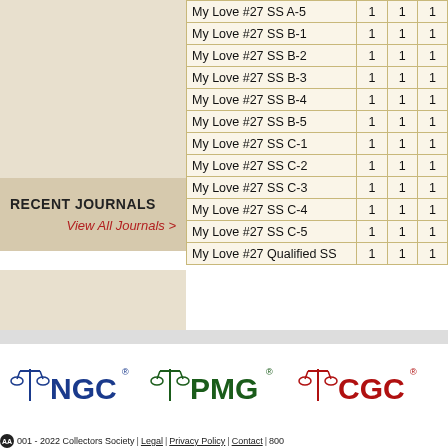RECENT JOURNALS
View All Journals >
|  |  |  |  |
| --- | --- | --- | --- |
| My Love #27 SS A-5 | 1 | 1 | 1 |
| My Love #27 SS B-1 | 1 | 1 | 1 |
| My Love #27 SS B-2 | 1 | 1 | 1 |
| My Love #27 SS B-3 | 1 | 1 | 1 |
| My Love #27 SS B-4 | 1 | 1 | 1 |
| My Love #27 SS B-5 | 1 | 1 | 1 |
| My Love #27 SS C-1 | 1 | 1 | 1 |
| My Love #27 SS C-2 | 1 | 1 | 1 |
| My Love #27 SS C-3 | 1 | 1 | 1 |
| My Love #27 SS C-4 | 1 | 1 | 1 |
| My Love #27 SS C-5 | 1 | 1 | 1 |
| My Love #27 Qualified SS | 1 | 1 | 1 |
[Figure (logo): NGC, PMG, and CGC logos with scale/balance icons]
2001 - 2022 Collectors Society | Legal | Privacy Policy | Contact | 800...